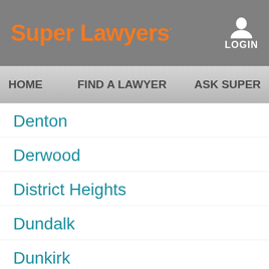Super Lawyers LOGIN
HOME   FIND A LAWYER   ASK SUPER L
Denton
Derwood
District Heights
Dundalk
Dunkirk
Easton
Edgemere
Edgewater